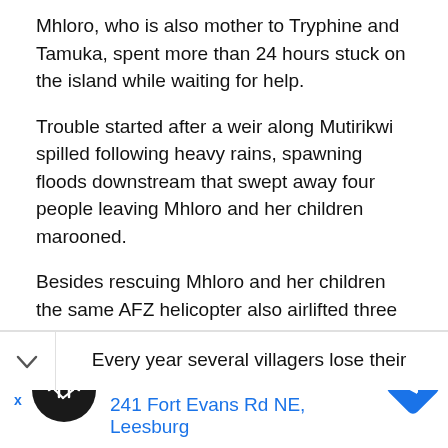Mhloro, who is also mother to Tryphine and Tamuka, spent more than 24 hours stuck on the island while waiting for help.
Trouble started after a weir along Mutirikwi spilled following heavy rains, spawning floods downstream that swept away four people leaving Mhloro and her children marooned.
Besides rescuing Mhloro and her children the same AFZ helicopter also airlifted three Chivi villagers from Shindi area who had been marooned on a huge rock along Runde River.
Every year several villagers lose their lives in the
[Figure (screenshot): Advertisement bar showing a business listing: Leesburg OPEN 10AM–9PM, 241 Fort Evans Rd NE, Leesburg, with a black circular logo with a double arrow icon and a blue navigation diamond icon on the right. Left side shows back navigation arrow with X.]